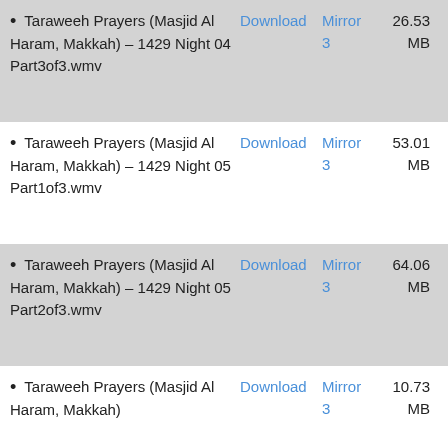Taraweeh Prayers (Masjid Al Haram, Makkah) – 1429 Night 04 Part3of3.wmv | Download | Mirror 3 | 26.53 MB
Taraweeh Prayers (Masjid Al Haram, Makkah) – 1429 Night 05 Part1of3.wmv | Download | Mirror 3 | 53.01 MB
Taraweeh Prayers (Masjid Al Haram, Makkah) – 1429 Night 05 Part2of3.wmv | Download | Mirror 3 | 64.06 MB
Taraweeh Prayers (Masjid Al Haram, Makkah) – 1429 Night ... | Download | Mirror 3 | 10.73 MB